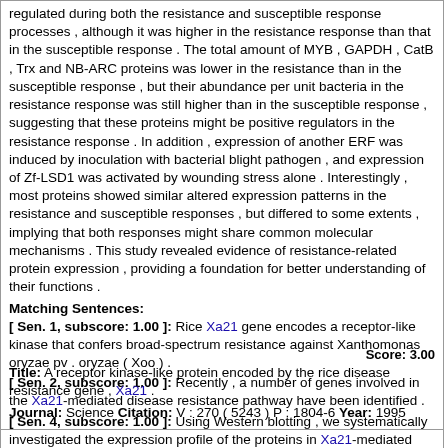regulated during both the resistance and susceptible response processes , although it was higher in the resistance response than that in the susceptible response . The total amount of MYB , GAPDH , CatB , Trx and NB-ARC proteins was lower in the resistance than in the susceptible response , but their abundance per unit bacteria in the resistance response was still higher than in the susceptible response , suggesting that these proteins might be positive regulators in the resistance response . In addition , expression of another ERF was induced by inoculation with bacterial blight pathogen , and expression of Zf-LSD1 was activated by wounding stress alone . Interestingly , most proteins showed similar altered expression patterns in the resistance and susceptible responses , but differed to some extents , implying that both responses might share common molecular mechanisms . This study revealed evidence of resistance-related protein expression , providing a foundation for better understanding of their functions .
Matching Sentences:
[ Sen. 1, subscore: 1.00 ]: Rice Xa21 gene encodes a receptor-like kinase that confers broad-spectrum resistance against Xanthomonas oryzae pv . oryzae ( Xoo ) .
[ Sen. 2, subscore: 1.00 ]: Recently , a number of genes involved in the Xa21-mediated disease resistance pathway have been identified .
[ Sen. 4, subscore: 1.00 ]: Using Western blotting , we systematically investigated the expression profile of the proteins in Xa21-mediated disease resistance response .
Score: 3.00
Title: A receptor kinase-like protein encoded by the rice disease resistance gene , Xa21 .
Journal: Science Citation: V : 270 ( 5243 ) P : 1804-6 Year: 1995